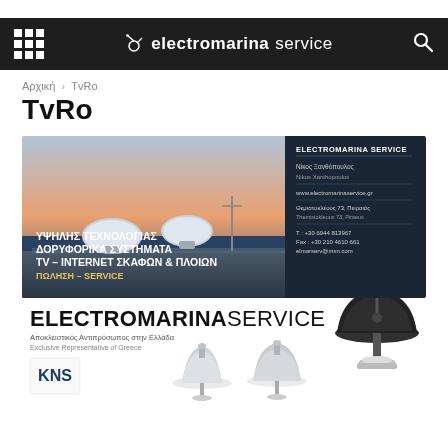electromarina service
Αρχική > TvRo
TvRo
[Figure (photo): Banner ad for Electromarina Service showing two satellite dome antennas on a luxury yacht deck at sunset, with Greek text: ΥΨΗΛΗΣ ΤΕΧΝΟΛΟΓΙΑΣ ΔΟΡΥΦΟΡΙΚΑ ΣΥΣΤΗΜΑΤΑ TV – INTERNET ΣΚΑΦΩΝ & ΠΛΟΙΩΝ ΠΩΛΗΣΗ – SERVICE. Right side shows company contact details.]
[Figure (illustration): Electromarina Service advertisement showing company logo, KNS logo, text 'Αποκλειστικός Αντιπρόσωπος στην Ελλάδα / Exclusive Representative of Greece', and three satellite dish antenna product images.]